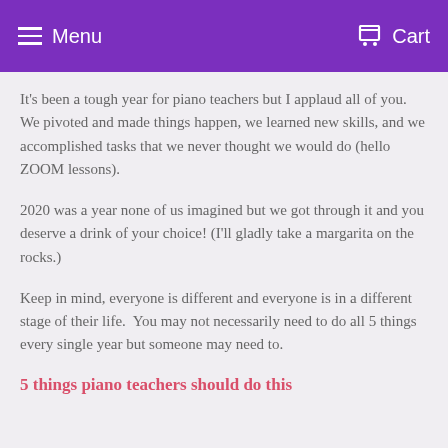Menu   Cart
It's been a tough year for piano teachers but I applaud all of you. We pivoted and made things happen, we learned new skills, and we accomplished tasks that we never thought we would do (hello ZOOM lessons).
2020 was a year none of us imagined but we got through it and you deserve a drink of your choice! (I'll gladly take a margarita on the rocks.)
Keep in mind, everyone is different and everyone is in a different stage of their life.  You may not necessarily need to do all 5 things every single year but someone may need to.
5 things piano teachers should do this